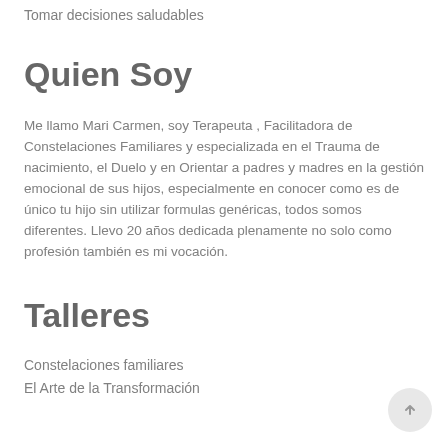Tomar decisiones saludables
Quien Soy
Me llamo Mari Carmen, soy Terapeuta , Facilitadora de Constelaciones Familiares y especializada en el Trauma de nacimiento, el Duelo y en Orientar a padres y madres en la gestión emocional de sus hijos, especialmente en conocer como es de único tu hijo sin utilizar formulas genéricas, todos somos diferentes. Llevo 20 años dedicada plenamente no solo como profesión también es mi vocación.
Talleres
Constelaciones familiares
El Arte de la Transformación